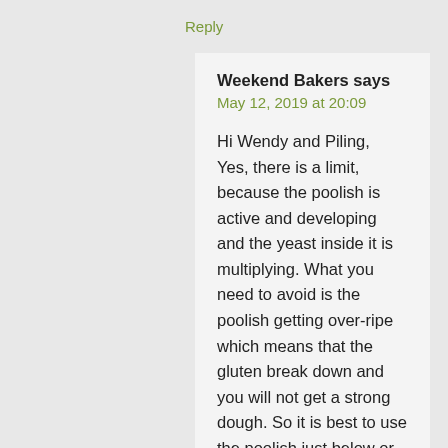Reply
Weekend Bakers says
May 12, 2019 at 20:09
Hi Wendy and Piling,
Yes, there is a limit, because the poolish is active and developing and the yeast inside it is multiplying. What you need to avoid is the poolish getting over-ripe which means that the gluten break down and you will not get a strong dough. So it is best to use the poolish just below or at its peak. There is some leeway if you want or need to take a bit longer than the 12 hours. But if you want to leave it for much longer